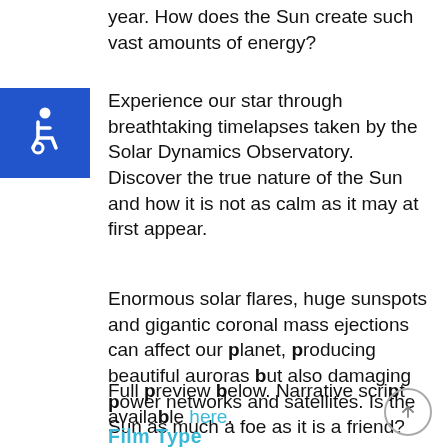year. How does the Sun create such vast amounts of energy?
[Figure (illustration): Blue square accessibility icon with wheelchair symbol in white]
Experience our star through breathtaking timelapses taken by the Solar Dynamics Observatory. Discover the true nature of the Sun and how it is not as calm as it may at first appear.
Enormous solar flares, huge sunspots and gigantic coronal mass ejections can affect our planet, producing beautiful auroras but also damaging power networks and satellites. Is the Sun as much a foe as it is a friend?
Full preview below. Narrative script available here.
Film Type